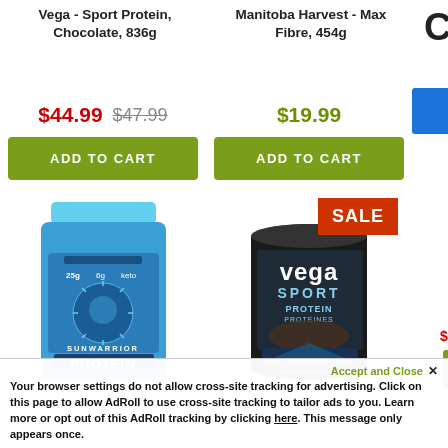Vega - Sport Protein, Chocolate, 836g
Manitoba Harvest - Max Fibre, 454g
$44.99 $47.99
$19.99
ADD TO CART
ADD TO CART
[Figure (photo): Sunwarrior Protein blue bottle/container]
[Figure (photo): Vega Sport Protein dark container with SALE badge]
Accept and Close ✕
Your browser settings do not allow cross-site tracking for advertising. Click on this page to allow AdRoll to use cross-site tracking to tailor ads to you. Learn more or opt out of this AdRoll tracking by clicking here. This message only appears once.